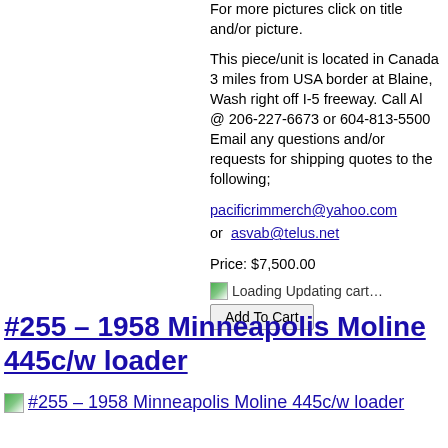For more pictures click on title and/or picture.
This piece/unit is located in Canada 3 miles from USA border at Blaine, Wash right off I-5 freeway. Call Al @ 206-227-6673 or 604-813-5500  Email any questions and/or requests for shipping quotes to the following;
pacificrimmerch@yahoo.com or  asvab@telus.net
Price: $7,500.00
Loading Updating cart… Add To Cart
#255 – 1958 Minneapolis Moline 445c/w loader
[Figure (photo): Thumbnail image of #255 – 1958 Minneapolis Moline 445c/w loader with link text]